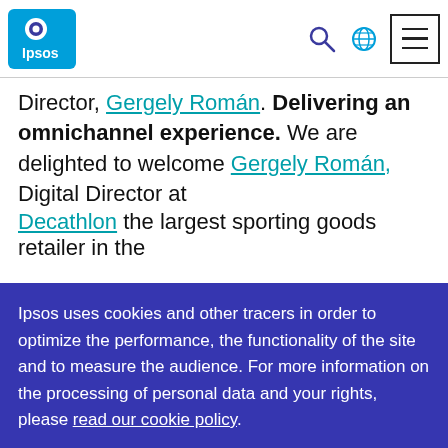Ipsos logo header with search, globe, and menu icons
Director, Gergely Román. Delivering an omnichannel experience. We are delighted to welcome Gergely Román, Digital Director at Decathlon the largest sporting goods retailer in the
Ipsos uses cookies and other tracers in order to optimize the performance, the functionality of the site and to measure the audience. For more information on the processing of personal data and your rights, please read our cookie policy.
Accept All
Customise Settings